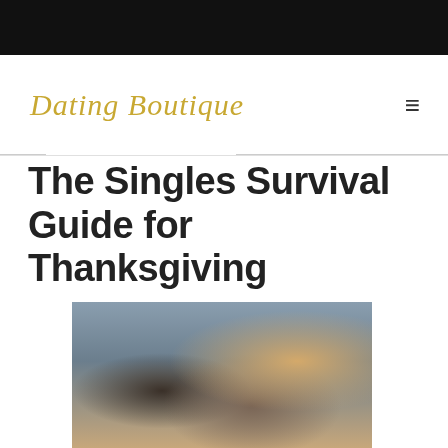[Figure (photo): Black header bar at top of webpage]
Dating Boutique
The Singles Survival Guide for Thanksgiving
[Figure (photo): Group of young people laughing and socializing outdoors, woman with blonde hair in foreground]